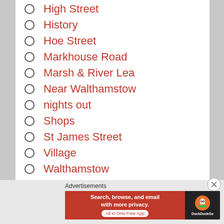High Street
History
Hoe Street
Markhouse Road
Marsh & River Lea
Near Walthamstow
nights out
Shops
St James Street
Village
Walthamstow
Wood Street
Advertisements
[Figure (screenshot): DuckDuckGo advertisement banner: Search, browse, and email with more privacy. All in One Free App]